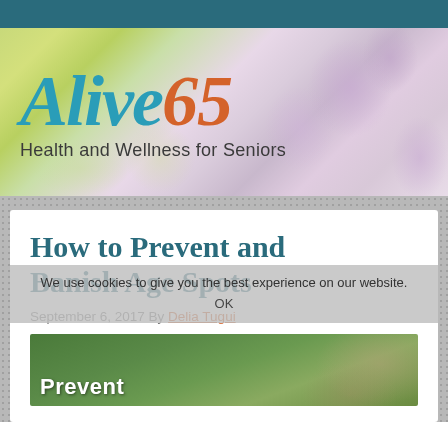[Figure (illustration): Alive65 logo over floral background with purple allium flowers and yellow buttercups. Logo reads 'Alive65' with tagline 'Health and Wellness for Seniors'. 'Alive' in teal italic, '65' in orange italic.]
How to Prevent and Banish Age Spots
We use cookies to give you the best experience on our website.
OK
September 6, 2017 By Delia Tugui
[Figure (photo): Preview image showing word 'Prevent' in white bold text over green outdoor background]